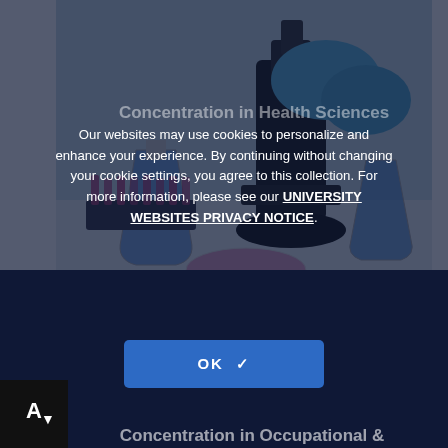[Figure (photo): Laboratory scene with scientist wearing blue gloves using a microscope, blue liquid samples in flasks and test tube racks visible on lab bench]
Concentration in Health Sciences
Our websites may use cookies to personalize and enhance your experience. By continuing without changing your cookie settings, you agree to this collection. For more information, please see our UNIVERSITY WEBSITES PRIVACY NOTICE.
OK ✓
Concentration in Occupational &